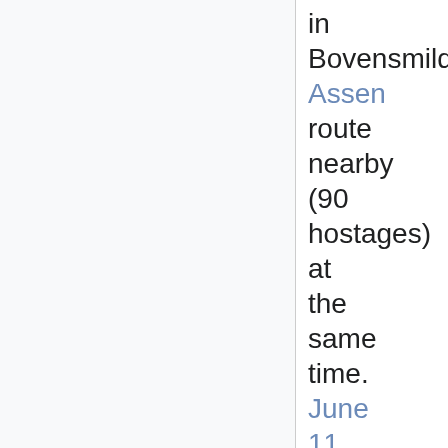in Bovensmilde-Assen route nearby (90 hostages) at the same time. June 11 Dutch Royal